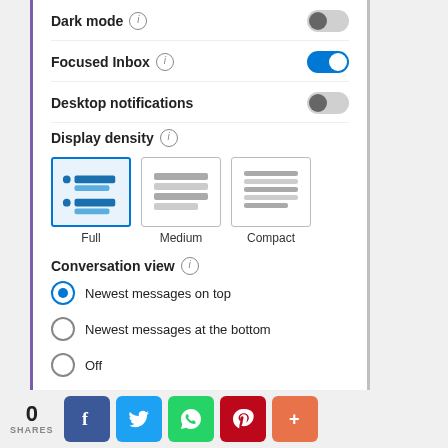Dark mode (i) [toggle off]
Focused Inbox (i) [toggle on]
Desktop notifications (i) [toggle off]
Display density
[Figure (screenshot): Display density options: Full (selected, highlighted in blue border), Medium, Compact]
Conversation view
Newest messages on top (selected)
Newest messages at the bottom
Off
0 SHARES [Facebook] [Twitter] [WhatsApp] [Pinterest] [More]